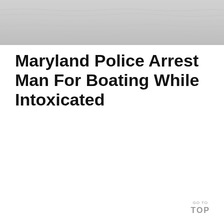[Figure (photo): Aerial or close-up view of calm water surface with light gray tones, serving as a header banner image.]
Maryland Police Arrest Man For Boating While Intoxicated
GO TO TOP